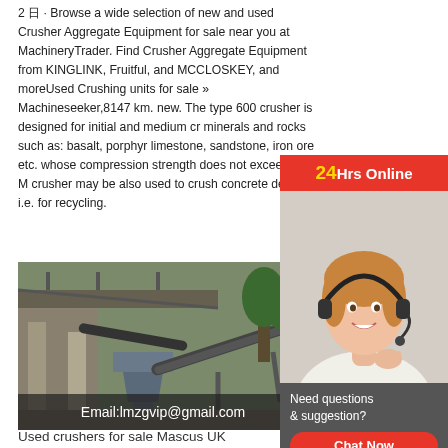2 日 · Browse a wide selection of new and used Crusher Aggregate Equipment for sale near you at MachineryTrader. Find Crusher Aggregate Equipment from KINGLINK, Fruitful, and MCCLOSKEY, and moreUsed Crushing units for sale » Machineseeker,8147 km. new. The type 600 crusher is designed for initial and medium cr minerals and rocks such as: basalt, porphyr limestone, sandstone, iron ore etc. whose compression strength does not exceed 320 M crusher may be also used to crush concrete debris, i.e. for recycling.
[Figure (infographic): Red banner saying '24Hrs Online' with '24' in yellow, overlaid on a photo of a female customer support agent wearing a headset and smiling]
[Figure (photo): Industrial crusher aggregate equipment with conveyor belts at a processing facility, with an email overlay at the bottom reading 'Email:lmzgvip@gmail.com']
Used crushers for sale Mascus UK